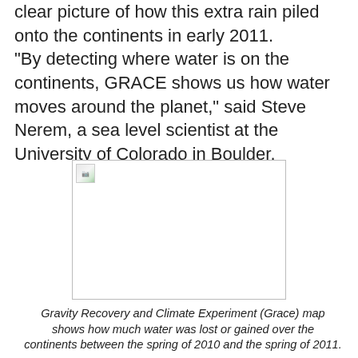clear picture of how this extra rain piled onto the continents in early 2011. "By detecting where water is on the continents, GRACE shows us how water moves around the planet," said Steve Nerem, a sea level scientist at the University of Colorado in Boulder.
[Figure (map): Broken/missing image placeholder for a Gravity Recovery and Climate Experiment (Grace) map showing water gain or loss over continents between spring 2010 and spring 2011.]
Gravity Recovery and Climate Experiment (Grace) map shows how much water was lost or gained over the continents between the spring of 2010 and the spring of 2011.